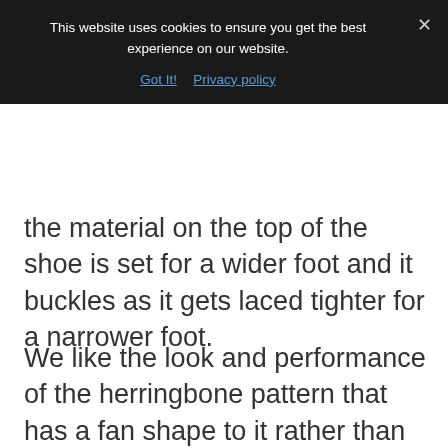This website uses cookies to ensure you get the best experience on our website.
Got It!  Privacy policy
the material on the top of the shoe is set for a wider foot and it buckles as it gets laced tighter for a narrower foot.
We like the look and performance of the herringbone pattern that has a fan shape to it rather than just a plain herringbone look.